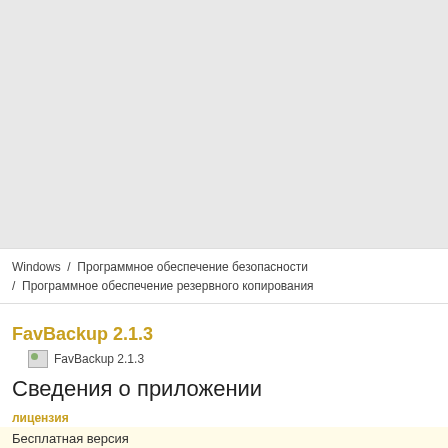[Figure (other): Large grey placeholder image area at the top of the page]
Windows / Программное обеспечение безопасности / Программное обеспечение резервного копирования
FavBackup 2.1.3
[Figure (illustration): Small app icon placeholder for FavBackup 2.1.3]
Сведения о приложении
лицензия
Бесплатная версия
система